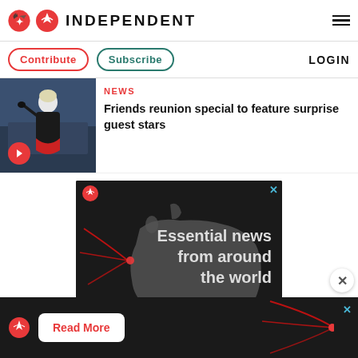INDEPENDENT
Contribute  Subscribe  LOGIN
[Figure (photo): Person in black outfit with arm raised, wearing gloves, appearing to sing or perform. Red play button overlay on image.]
NEWS
Friends reunion special to feature surprise guest stars
[Figure (infographic): Advertisement for The Independent showing a dark world map with red lines and text 'Essential news from around the world' with Independent eagle logo. Close X button top right.]
[Figure (infographic): Bottom advertisement bar: Independent eagle logo, 'Read More' white button on dark background, decorative red lines, close X button.]